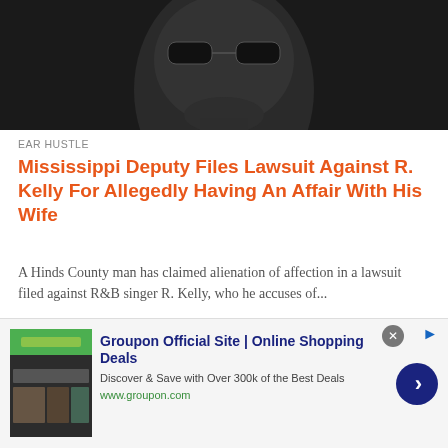[Figure (photo): Close-up of a man wearing sunglasses against a dark background]
EAR HUSTLE
Mississippi Deputy Files Lawsuit Against R. Kelly For Allegedly Having An Affair With His Wife
A Hinds County man has claimed alienation of affection in a lawsuit filed against R&B singer R. Kelly, who he accuses of...
[Figure (screenshot): Video thumbnail showing text 'TRAPPED CLOSET' in orange letters on dark background with 20K view counter]
[Figure (other): Advertisement banner for Groupon Official Site showing shopping deals with green logo, product images, ad title, subtitle, URL and blue arrow button]